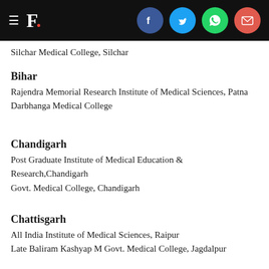F. [social icons: Facebook, Twitter, WhatsApp, Email]
Silchar Medical College, Silchar
Bihar
Rajendra Memorial Research Institute of Medical Sciences, Patna
Darbhanga Medical College
Chandigarh
Post Graduate Institute of Medical Education & Research,Chandigarh
Govt. Medical College, Chandigarh
Chattisgarh
All India Institute of Medical Sciences, Raipur
Late Baliram Kashyap M Govt. Medical College, Jagdalpur